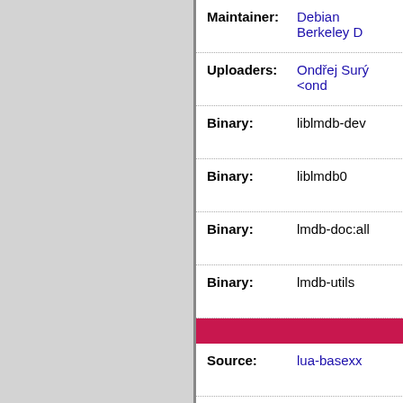| Field | Value |
| --- | --- |
| Maintainer: | Debian Berkeley D... |
| Uploaders: | Ondřej Surý <ond... |
| Binary: | liblmdb-dev |
| Binary: | liblmdb0 |
| Binary: | lmdb-doc:all |
| Binary: | lmdb-utils |
| Source: | lua-basexx |
| Maintainer: | Ondřej Surý <ond... |
| Binary: | lua-basexx:all |
| Source: | lua-compat53 |
| Maintainer: | Ondřej Surý <ond... |